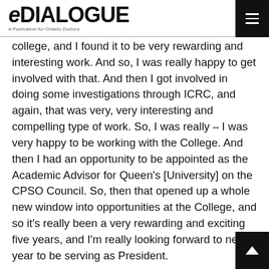eDIALOGUE — A Publication for Ontario Doctors
college, and I found it to be very rewarding and interesting work. And so, I was really happy to get involved with that. And then I got involved in doing some investigations through ICRC, and again, that was very, very interesting and compelling type of work. So, I was really – I was very happy to be working with the College. And then I had an opportunity to be appointed as the Academic Advisor for Queen's [University] on the CPSO Council. So, then that opened up a whole new window into opportunities at the College, and so it's really been a very rewarding and exciting five years, and I'm really looking forward to next year to be serving as President.